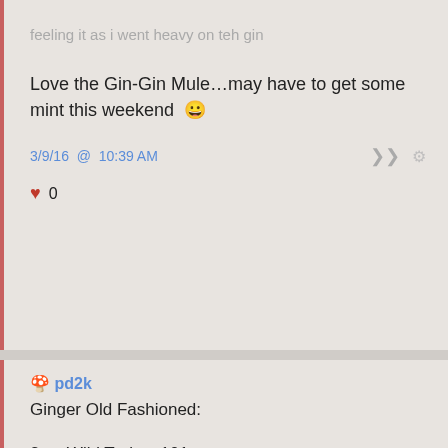feeling it as i went heavy on teh gin
Love the Gin-Gin Mule…may have to get some mint this weekend 🙂
3/9/16 @ 10:39 AM
♥ 0
🍄 pd2k
Ginger Old Fashioned:
2 oz Wild Turkey 101
1 teaspoon ginger simple syrup